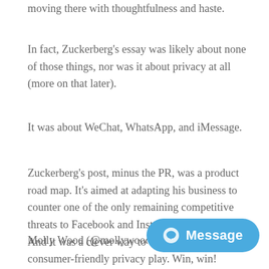moving there with thoughtfulness and haste.
In fact, Zuckerberg's essay was likely about none of those things, nor was it about privacy at all (more on that later).
It was about WeChat, WhatsApp, and iMessage.
Zuckerberg's post, minus the PR, was a product road map. It's aimed at adapting his business to counter one of the only remaining competitive threats to Facebook and Instagram: messaging. And it was a clever way to dress up that pivot as a consumer-friendly privacy play. Win, win!
Molly Wood (@mollywood) is a contributor at WIRED, and the host and senior...